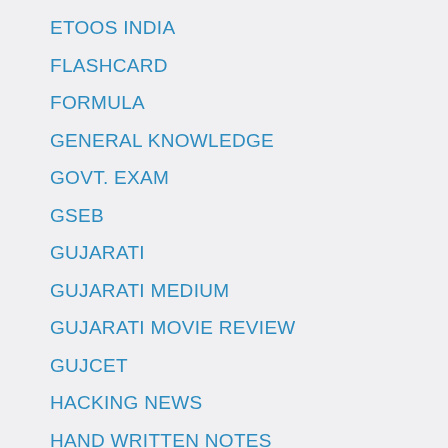ETOOS INDIA
FLASHCARD
FORMULA
GENERAL KNOWLEDGE
GOVT. EXAM
GSEB
GUJARATI
GUJARATI MEDIUM
GUJARATI MOVIE REVIEW
GUJCET
HACKING NEWS
HAND WRITTEN NOTES
HINDI
IIT JEE